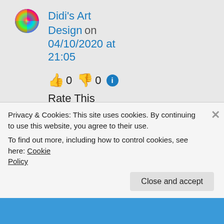Didi's Art Design on 04/10/2020 at 21:05
👍 0 👎 0 ℹ️
Rate This
Thank you, dear Sakshi 🙂 👍
Didi
Privacy & Cookies: This site uses cookies. By continuing to use this website, you agree to their use.
To find out more, including how to control cookies, see here: Cookie Policy
Close and accept